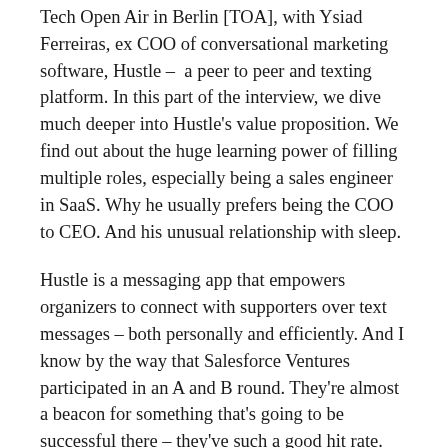Tech Open Air in Berlin [TOA], with Ysiad Ferreiras, ex COO of conversational marketing software, Hustle – a peer to peer and texting platform. In this part of the interview, we dive much deeper into Hustle's value proposition. We find out about the huge learning power of filling multiple roles, especially being a sales engineer in SaaS. Why he usually prefers being the COO to CEO. And his unusual relationship with sleep.
Hustle is a messaging app that empowers organizers to connect with supporters over text messages – both personally and efficiently. And I know by the way that Salesforce Ventures participated in an A and B round. They're almost a beacon for something that's going to be successful there – they've such a good hit rate. Just tell me a little bit about Hustle and what made it so successful.
Ysiad ferreiras
Sure! So, so the, we solve is that … so like imagine